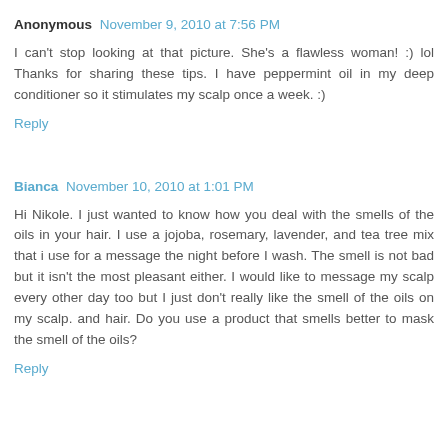Anonymous November 9, 2010 at 7:56 PM
I can't stop looking at that picture. She's a flawless woman! :) lol Thanks for sharing these tips. I have peppermint oil in my deep conditioner so it stimulates my scalp once a week. :)
Reply
Bianca November 10, 2010 at 1:01 PM
Hi Nikole. I just wanted to know how you deal with the smells of the oils in your hair. I use a jojoba, rosemary, lavender, and tea tree mix that i use for a message the night before I wash. The smell is not bad but it isn't the most pleasant either. I would like to message my scalp every other day too but I just don't really like the smell of the oils on my scalp. and hair. Do you use a product that smells better to mask the smell of the oils?
Reply